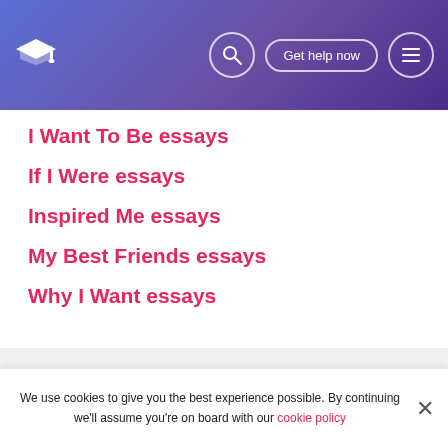I Want To Be essays | If I Were essays | Inspired Me essays | My Best Friends essays | Why I Want essays
I Want To Be essays
If I Were essays
Inspired Me essays
My Best Friends essays
Why I Want essays
We use cookies to give you the best experience possible. By continuing we'll assume you're on board with our cookie policy